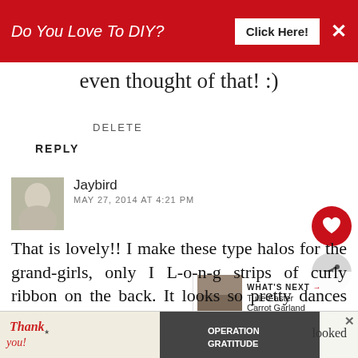[Figure (screenshot): Red banner advertisement: 'Do You Love To DIY?' with 'Click Here!' button and X close button]
even thought of that! :)
DELETE
REPLY
Jaybird
MAY 27, 2014 AT 4:21 PM
That is lovely!! I make these type halos for the grand-girls, only I L-o-n-g strips of curly ribbon on the back. It looks so pretty dances around on the wind.
[Figure (screenshot): Bottom advertisement banner with 'Thank you!' text and Operation Gratitude imagery with firefighters]